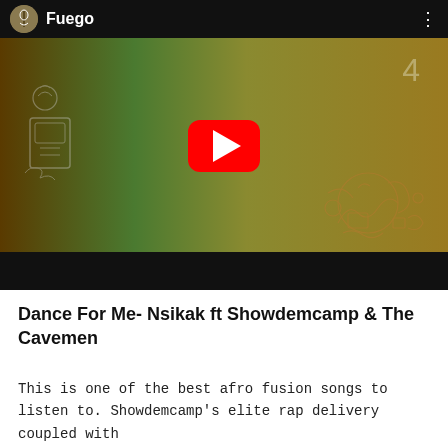[Figure (screenshot): YouTube embedded video player showing 'Fuego' channel with a music video thumbnail. The thumbnail has a dark brown and green gradient background with artistic chalk sketches. A large red YouTube play button is centered on the thumbnail. The video bar shows the channel avatar and title 'Fuego' in white text on a black bar at the top, with a three-dot menu icon on the right. A black bar appears at the bottom of the player.]
Dance For Me- Nsikak ft Showdemcamp & The Cavemen
This is one of the best afro fusion songs to listen to. Showdemcamp's elite rap delivery coupled with